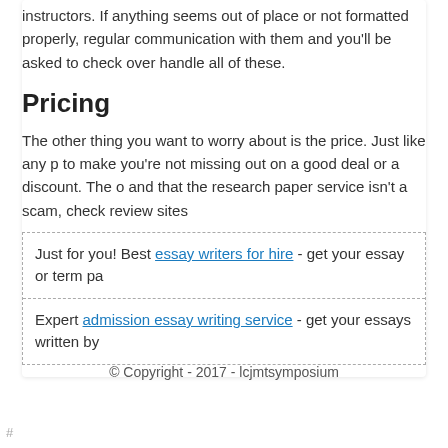instructors. If anything seems out of place or not formatted properly, regular communication with them and you'll be asked to check over handle all of these.
Pricing
The other thing you want to worry about is the price. Just like any p to make you're not missing out on a good deal or a discount. The o and that the research paper service isn't a scam, check review sites
Just for you! Best essay writers for hire - get your essay or term pa
Expert admission essay writing service - get your essays written by
© Copyright - 2017 - lcjmtsymposium
#